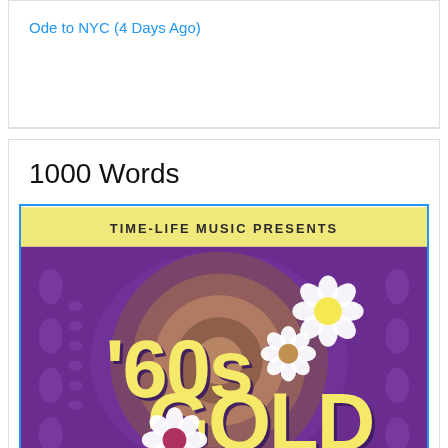Ode to NYC (4 Days Ago)
1000 Words
[Figure (photo): Time-Life Music Presents '60s Gold album cover — purple background with retro 1960s design featuring large yellow '60s GOLD text, brown concentric circle motifs, and white daisy flower graphics]